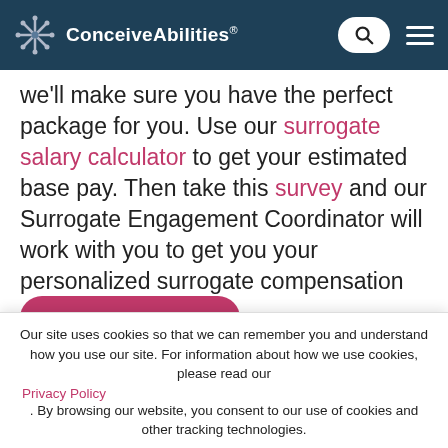ConceiveAbilities
we'll make sure you have the perfect package for you. Use our surrogate salary calculator to get your estimated base pay. Then take this survey and our Surrogate Engagement Coordinator will work with you to get you your personalized surrogate compensation package.
Our site uses cookies so that we can remember you and understand how you use our site. For information about how we use cookies, please read our Privacy Policy . By browsing our website, you consent to our use of cookies and other tracking technologies.
Accept